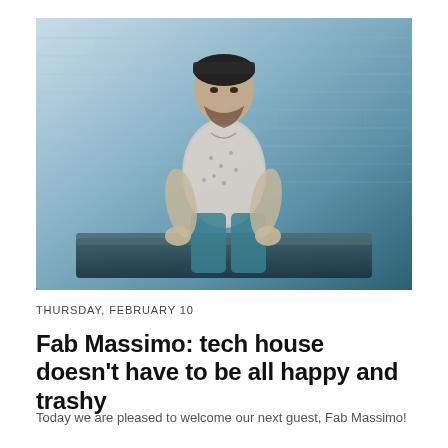[Figure (photo): Young man with beard wearing a black cap, patterned t-shirt and teal pants, sitting on a dark couch in front of a white painted brick wall. The lighting has a cool blue tone.]
THURSDAY, FEBRUARY 10
Fab Massimo: tech house doesn't have to be all happy and trashy
Today we are pleased to welcome our next guest, Fab Massimo!